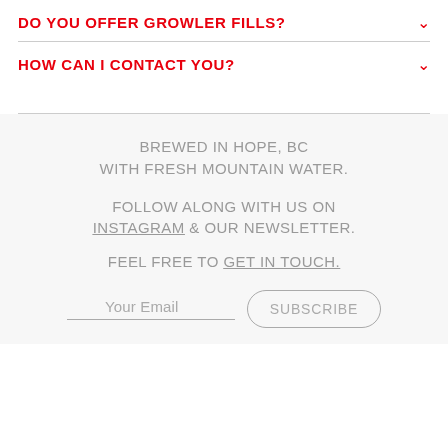DO YOU OFFER GROWLER FILLS?
HOW CAN I CONTACT YOU?
BREWED IN HOPE, BC WITH FRESH MOUNTAIN WATER.
FOLLOW ALONG WITH US ON INSTAGRAM & OUR NEWSLETTER.
FEEL FREE TO GET IN TOUCH.
Your Email  SUBSCRIBE